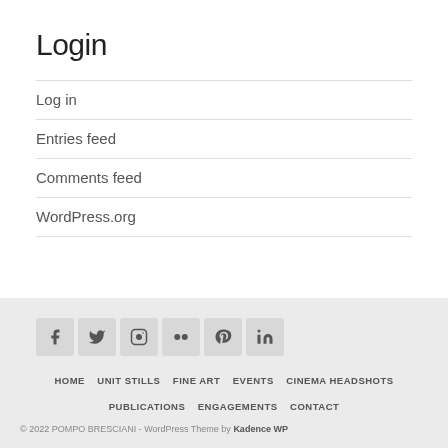Login
Log in
Entries feed
Comments feed
WordPress.org
[Figure (other): Social media icons: Facebook, Twitter, Instagram, Flickr, Pinterest, LinkedIn]
HOME  UNIT STILLS  FINE ART  EVENTS  CINEMA HEADSHOTS  PUBLICATIONS  ENGAGEMENTS  CONTACT
© 2022 POMPO BRESCIANI - WordPress Theme by Kadence WP